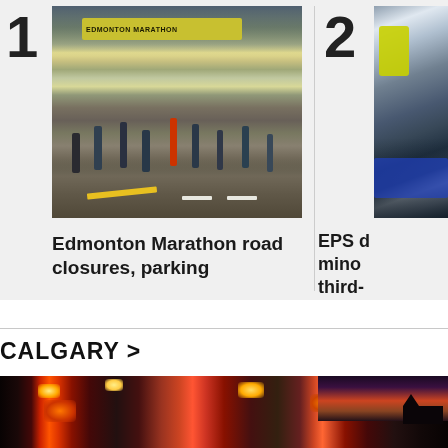1
[Figure (photo): Edmonton Marathon runners racing on a street with a yellow Edmonton Marathon finish arch in the background]
Edmonton Marathon road closures, parking
2
[Figure (photo): Partial view of a person near a vehicle, EPS story thumbnail]
EPS d minor third-
CALGARY >
[Figure (photo): Fire trucks with red lights illuminated at dusk on a street in Calgary]